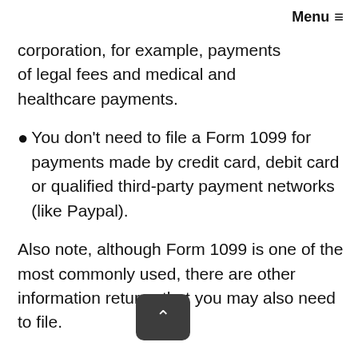Menu ≡
corporation, for example, payments of legal fees and medical and healthcare payments.
You don't need to file a Form 1099 for payments made by credit card, debit card or qualified third-party payment networks (like Paypal).
Also note, although Form 1099 is one of the most commonly used, there are other information returns that you may also need to file.